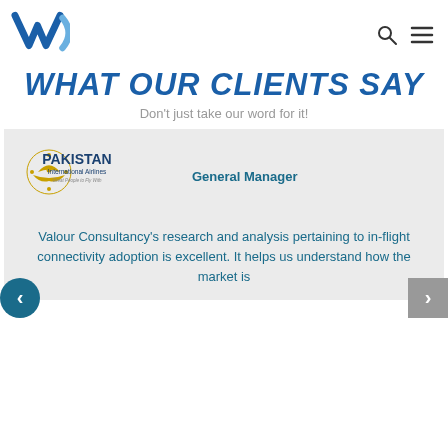[Figure (logo): VC (Valour Consultancy) logo in blue]
WHAT OUR CLIENTS SAY
Don't just take our word for it!
[Figure (logo): Pakistan International Airlines logo with text 'Great People to Fly With']
General Manager
Valour Consultancy's research and analysis pertaining to in-flight connectivity adoption is excellent. It helps us understand how the market is